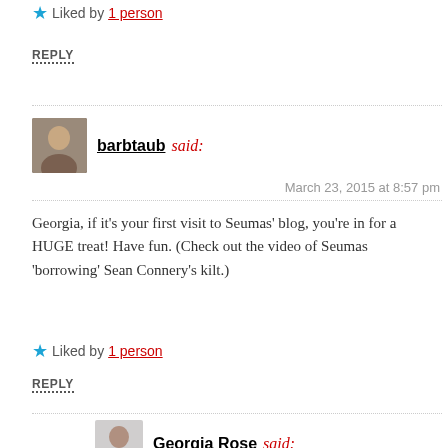★ Liked by 1 person
REPLY
barbtaub said:
March 23, 2015 at 8:57 pm
Georgia, if it's your first visit to Seumas' blog, you're in for a HUGE treat! Have fun. (Check out the video of Seumas 'borrowing' Sean Connery's kilt.)
★ Liked by 1 person
REPLY
Georgia Rose said:
March 23, 2015 at 9:25 pm
Well I am following it now but missed out on that little treasure 😉 I shall go back